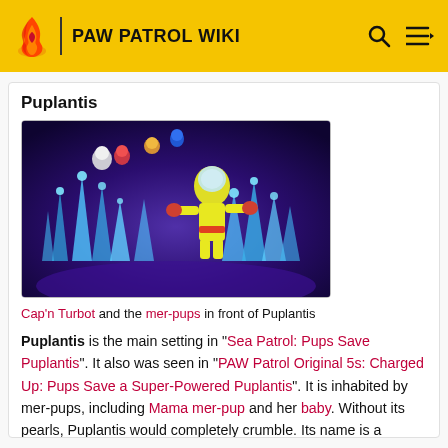PAW PATROL WIKI
Puplantis
[Figure (photo): Animated scene showing Cap'n Turbot and the mer-pups in front of Puplantis, a glowing underwater city with blue crystal spires.]
Cap'n Turbot and the mer-pups in front of Puplantis
Puplantis is the main setting in "Sea Patrol: Pups Save Puplantis". It also was seen in "PAW Patrol Original 5s: Charged Up: Pups Save a Super-Powered Puplantis". It is inhabited by mer-pups, including Mama mer-pup and her baby. Without its pearls, Puplantis would completely crumble. Its name is a reflection on